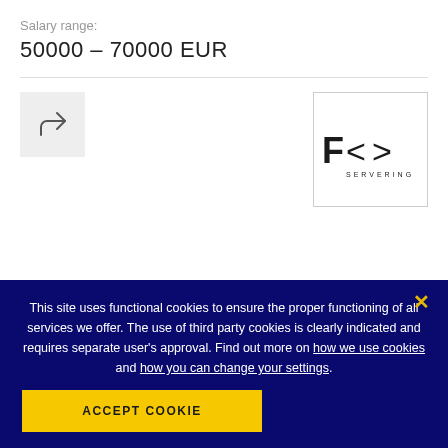Salary range:
50000 – 70000 EUR
[Figure (logo): Share/forward icon button (grey square with arrow icon)]
[Figure (logo): Company logo: F<> SERVERING, dark text on white background with border]
This site uses functional cookies to ensure the proper functioning of all services we offer. The use of third party cookies is clearly indicated and requires separate user's approval. Find out more on how we use cookies and how you can change your settings.
ACCEPT COOKIE